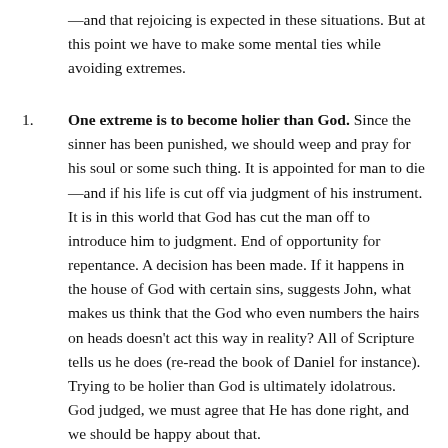—and that rejoicing is expected in these situations. But at this point we have to make some mental ties while avoiding extremes.
One extreme is to become holier than God. Since the sinner has been punished, we should weep and pray for his soul or some such thing. It is appointed for man to die—and if his life is cut off via judgment of his instrument. It is in this world that God has cut the man off to introduce him to judgment. End of opportunity for repentance. A decision has been made. If it happens in the house of God with certain sins, suggests John, what makes us think that the God who even numbers the hairs on heads doesn't act this way in reality? All of Scripture tells us he does (re-read the book of Daniel for instance). Trying to be holier than God is ultimately idolatrous. God judged, we must agree that He has done right, and we should be happy about that.